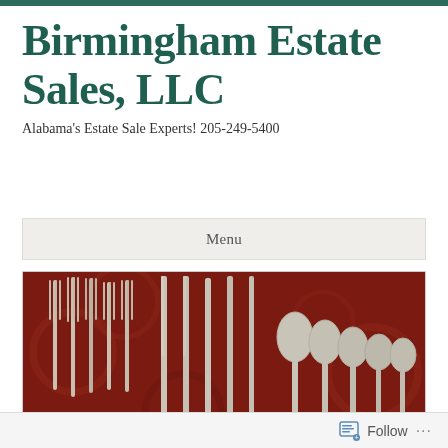Birmingham Estate Sales, LLC
Alabama's Estate Sale Experts! 205-249-5400
Menu
[Figure (photo): Photo of silver cutlery — forks, knives, and spoons arranged on a dark red patterned background]
HOMEWOOD AL
Follow ...